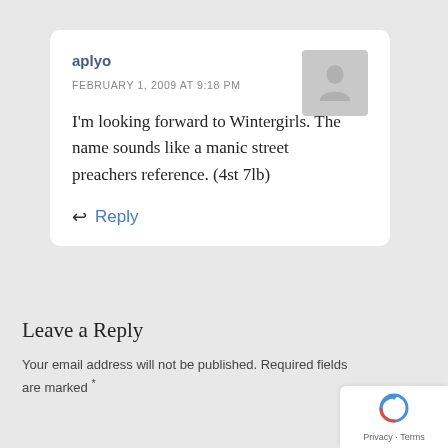aplyo
FEBRUARY 1, 2009 AT 9:18 PM
I'm looking forward to Wintergirls. The name sounds like a manic street preachers reference. (4st 7lb)
Reply
Leave a Reply
Your email address will not be published. Required fields are marked *